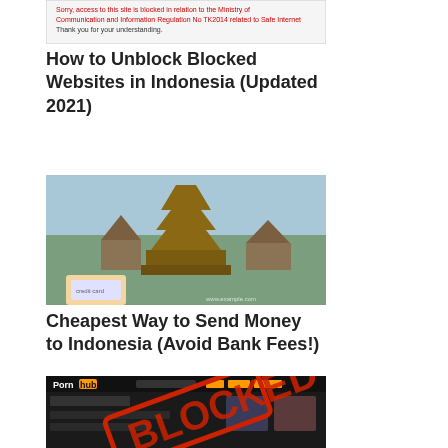[Figure (screenshot): Screenshot of an Indonesian government block page with red text about Ministry of Communication and Information Regulation]
How to Unblock Blocked Websites in Indonesia (Updated 2021)
[Figure (photo): Photo of Balinese temple with person holding a card in foreground]
Cheapest Way to Send Money to Indonesia (Avoid Bank Fees!)
[Figure (screenshot): Screenshot of Pornhub website with large red BLOCKED stamp overlay]